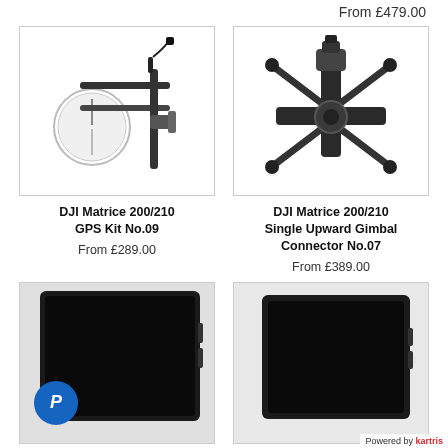From £479.00
[Figure (photo): DJI Matrice 200/210 GPS Kit No.09 product photo showing a GPS mount with circular white compass disc and black frame assembly]
DJI Matrice 200/210 GPS Kit No.09
From £289.00
[Figure (photo): DJI Matrice 200/210 Single Upward Gimbal Connector No.07 product photo showing a black cross-frame gimbal connector assembly]
DJI Matrice 200/210 Single Upward Gimbal Connector No.07
From £389.00
[Figure (photo): Product with PayPal badge - black tablet/monitor device with blue PayPal circular logo badge in lower left corner]
[Figure (photo): Black tablet/monitor device product photo]
Powered by kartris